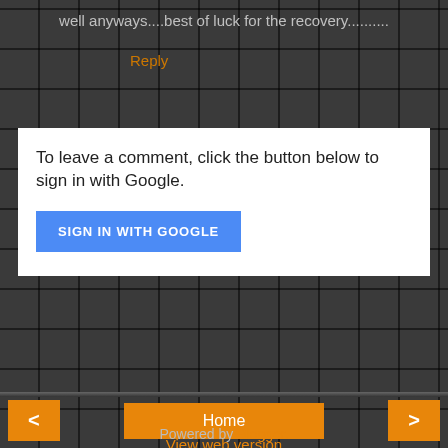well anyways....best of luck for the recovery..........
Reply
To leave a comment, click the button below to sign in with Google.
SIGN IN WITH GOOGLE
Home
View web version
About Me
Aashu
Patna, Bihar, India
View my complete profile
Powered by Blogger.